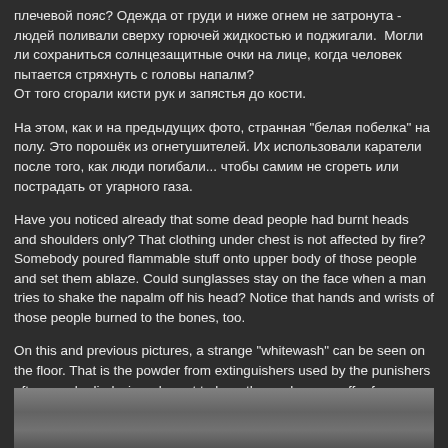плечевой пояс? Одежда от груди и ниже огнем не затронута - людей поливали сверху горючей жидкостью и поджигали. Могли ли сохраниться солнцезащитные очки на лице, когда человек пытается стряхнуть с головы напалм?
От того сгорали кисти рук и запястья до кости.
На этом, как и на предыдущих фото, странная "белая побелка" на полу. Это порошёк из огнетушителей. Их использовали каратели после того, как люди погибали... чтобы самим не сгореть или пострадать от угарного газа.
Have you noticed already that some dead people had burnt heads and shoulders only? That clothing under chest is not affected by fire? Somebody poured flammable stuff onto upper body of those people and set them ablaze. Could sunglasses stay on the face when a man tries to shake the napalm off his head? Notice that hands and wrists of those people burned to the bones, too.
On this and previous pictures, a strange "whitewash" can be seen on the floor. That is the powder from extinguishers used by the punishers after people died…in order not to burn themselves or suffer from carbon monoxide.
[Figure (photo): Partial view of a grainy, dark photograph at the bottom of the page.]